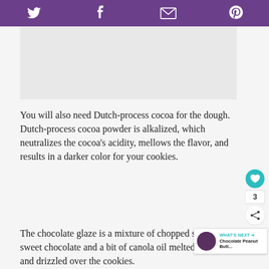Twitter  Facebook  Email  Pinterest
[Figure (other): Advertisement/blank image area]
You will also need Dutch-process cocoa for the dough. Dutch-process cocoa powder is alkalized, which neutralizes the cocoa's acidity, mellows the flavor, and results in a darker color for your cookies.
The chocolate glaze is a mixture of chopped semi-sweet chocolate and a bit of canola oil melted together, and drizzled over the cookies.
For the peppermint bits, you can crush mini candy